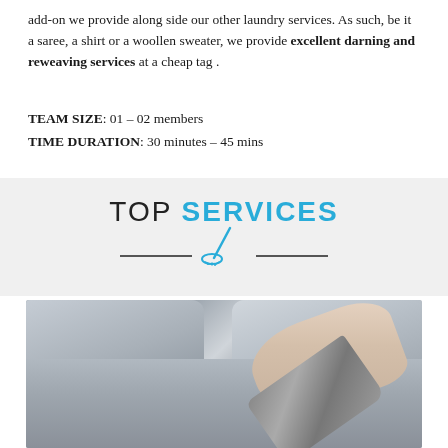add-on we provide along side our other laundry services. As such, be it a saree, a shirt or a woollen sweater, we provide excellent darning and reweaving services at a cheap tag .
TEAM SIZE: 01 – 02 members
TIME DURATION: 30 minutes – 45 mins
TOP SERVICES
[Figure (photo): A person using a vacuum cleaner attachment to clean a grey sofa couch, with a plant and red furniture visible in the background.]